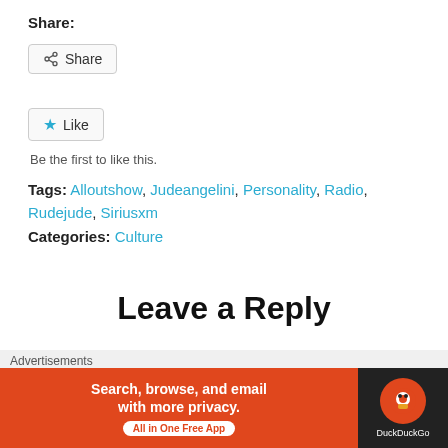Share:
[Figure (screenshot): Share button with share icon]
[Figure (screenshot): Like button with blue star icon]
Be the first to like this.
Tags: Alloutshow, Judeangelini, Personality, Radio, Rudejude, Siriusxm
Categories: Culture
Leave a Reply
Your email address will not be published. Required
[Figure (screenshot): DuckDuckGo advertisement banner: Search, browse, and email with more privacy. All in One Free App.]